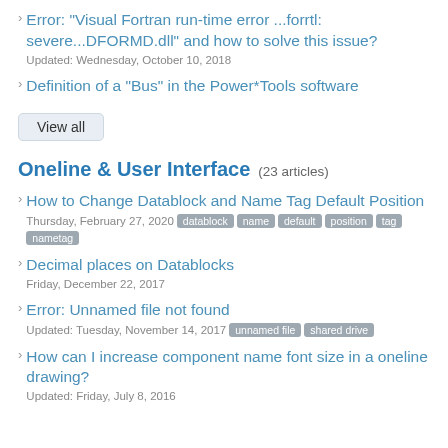Error: "Visual Fortran run-time error ...forrtl: severe...DFORMD.dll" and how to solve this issue? Updated: Wednesday, October 10, 2018
Definition of a "Bus" in the Power*Tools software
View all
Oneline & User Interface (23 articles)
How to Change Datablock and Name Tag Default Position Thursday, February 27, 2020 datablock name default position tag nametag
Decimal places on Datablocks Friday, December 22, 2017
Error: Unnamed file not found Updated: Tuesday, November 14, 2017 unnamed file shared drive
How can I increase component name font size in a oneline drawing? Updated: Friday, July 8, 2016